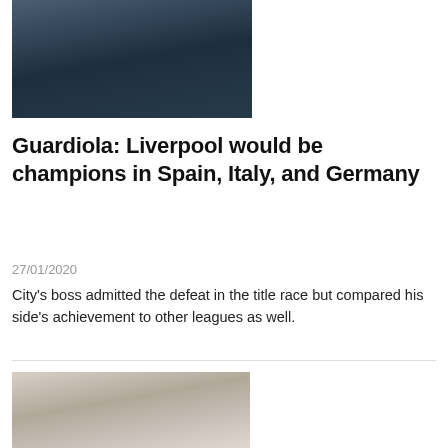[Figure (photo): Person wearing a dark navy Puma puffer jacket, outdoors, upper body visible]
Guardiola: Liverpool would be champions in Spain, Italy, and Germany
27/01/2020
City's boss admitted the defeat in the title race but compared his side's achievement to other leagues as well.
[Figure (photo): Man in black and white goalkeeper kit, looking forward, close-up portrait]